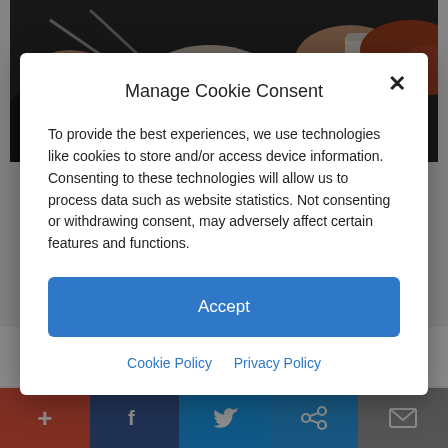[Figure (photo): Photo of people's hands sharing food or drinks at a gathering, with various dark-colored clothing and items visible.]
from this policy.
Manage Cookie Consent
To provide the best experiences, we use technologies like cookies to store and/or access device information. Consenting to these technologies will allow us to process data such as website statistics. Not consenting or withdrawing consent, may adversely affect certain features and functions.
Accept
Cookie Policy  Privacy Policy